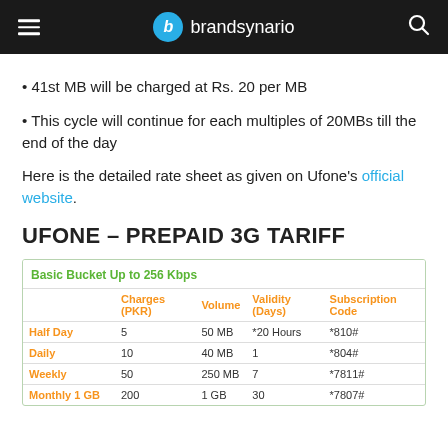brandsynario
41st MB will be charged at Rs. 20 per MB
This cycle will continue for each multiples of 20MBs till the end of the day
Here is the detailed rate sheet as given on Ufone's official website.
UFONE – PREPAID 3G TARIFF
|  | Charges (PKR) | Volume | Validity (Days) | Subscription Code |
| --- | --- | --- | --- | --- |
| Half Day | 5 | 50 MB | *20 Hours | *810# |
| Daily | 10 | 40 MB | 1 | *804# |
| Weekly | 50 | 250 MB | 7 | *7811# |
| Monthly 1 GB | 200 | 1 GB | 30 | *7807# |